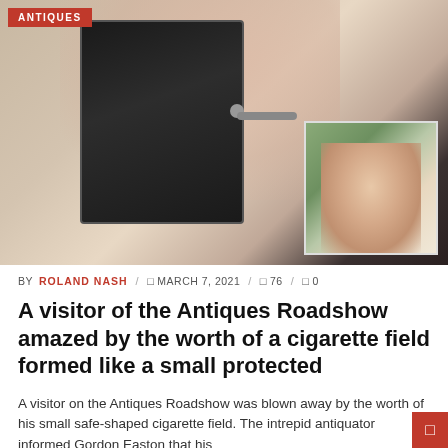[Figure (photo): A photograph showing hands holding or touching a small safe-shaped object (cigarette case), with a blurred background. A smaller inset portrait photo of a smiling man (Roland Nash) appears in the bottom-right corner of the main image.]
ANTIQUES
BY ROLAND NASH / 📅 MARCH 7, 2021 / 👁 76 / 💬 0
A visitor of the Antiques Roadshow amazed by the worth of a cigarette field formed like a small protected
A visitor on the Antiques Roadshow was blown away by the worth of his small safe-shaped cigarette field. The intrepid antiquator informed Gordon Easton that his